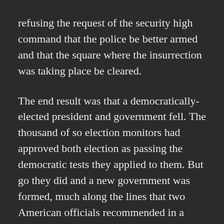refusing the request of the security high command that the police be better armed and that the square where the insurrection was taking place be cleared.
The end result was that a democratically-elected president and government fell. The thousand of so election monitors had approved both election as passing the democratic tests they applied to them. But go they did and a new government was formed, much along the lines that two American officials recommended in a leaked telephone conversation of that time. Thus began the descent into misery, tragedy and economic and political disaster that has personified life in Ukraine from that time